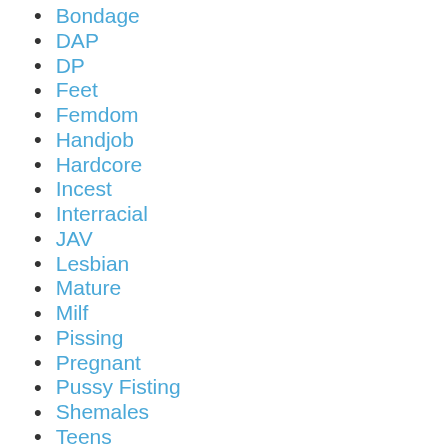Bondage
DAP
DP
Feet
Femdom
Handjob
Hardcore
Incest
Interracial
JAV
Lesbian
Mature
Milf
Pissing
Pregnant
Pussy Fisting
Shemales
Teens